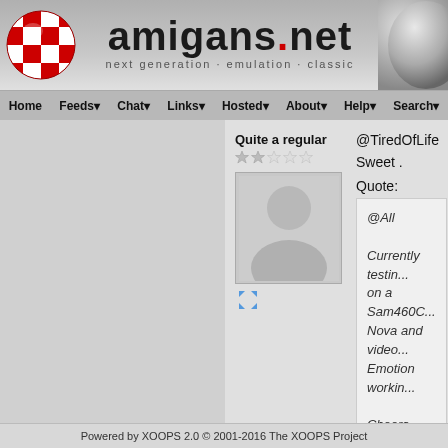[Figure (logo): amigans.net website header with red globe logo, site title 'amigans.net' in dark bold text with red dot, subtitle 'next generation · emulation · classic', and grey ball on right]
Home  Feeds  Chat  Links  Hosted  About  Help  Search
Quite a regular
@TiredOfLife
Sweet .
Quote:
@All

Currently testin... on a Sam460C... Nova and video... Emotion workin...

Cheers
Powered by XOOPS 2.0 © 2001-2016 The XOOPS Project